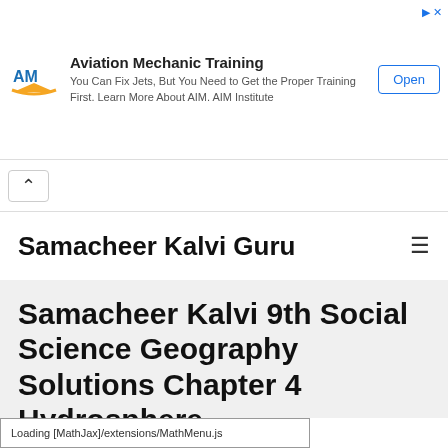[Figure (other): Advertisement banner for Aviation Mechanic Training by AIM Institute with logo, text, and Open button]
Samacheer Kalvi Guru
Samacheer Kalvi 9th Social Science Geography Solutions Chapter 4 Hydrosphere
Loading [MathJax]/extensions/MathMenu.js